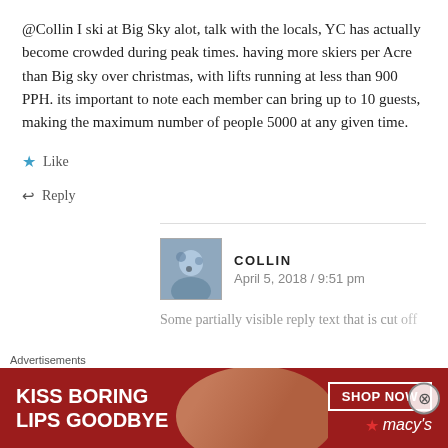@Collin I ski at Big Sky alot, talk with the locals, YC has actually become crowded during peak times. having more skiers per Acre than Big sky over christmas, with lifts running at less than 900 PPH. its important to note each member can bring up to 10 guests, making the maximum number of people 5000 at any given time.
★ Like
↩ Reply
COLLIN
April 5, 2018 / 9:51 pm
[Figure (photo): Avatar thumbnail image for user Collin, showing a small photo]
Some partially visible text (truncated by ad overlay)
Advertisements
[Figure (illustration): Macy's advertisement banner: 'KISS BORING LIPS GOODBYE' with SHOP NOW button and Macy's star logo, red background with model photo]